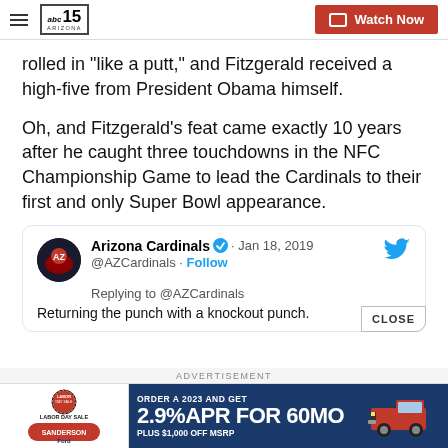abc15 ARIZONA — Watch Now
rolled in "like a putt," and Fitzgerald received a high-five from President Obama himself.
Oh, and Fitzgerald's feat came exactly 10 years after he caught three touchdowns in the NFC Championship Game to lead the Cardinals to their first and only Super Bowl appearance.
[Figure (screenshot): Embedded tweet from Arizona Cardinals (@AZCardinals) dated Jan 18, 2019. Text reads: 'Replying to @AZCardinals — Returning the punch with a knockout punch.']
[Figure (infographic): Advertisement banner for Sanderson Ford Labor Day Sale: ORDER A 2023 AND GET 2.9%APR FOR 60MO PLUS $1,000 OFF MSRP, featuring a red pickup truck]